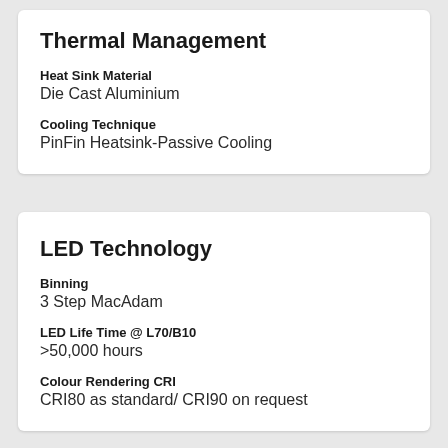Thermal Management
Heat Sink Material
Die Cast Aluminium
Cooling Technique
PinFin Heatsink-Passive Cooling
LED Technology
Binning
3 Step MacAdam
LED Life Time @ L70/B10
>50,000 hours
Colour Rendering CRI
CRI80 as standard/ CRI90 on request